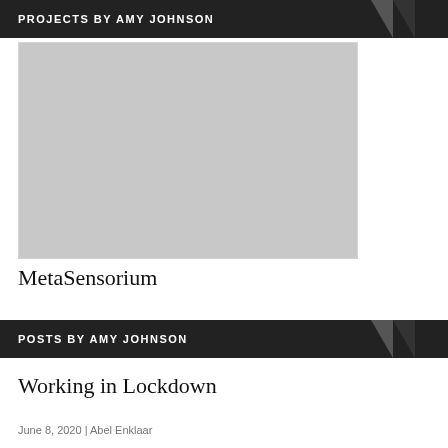PROJECTS BY AMY JOHNSON
[Figure (photo): Gray placeholder image block for a project]
MetaSensorium
POSTS BY AMY JOHNSON
Working in Lockdown
June 8, 2020 | Abel Enklaar